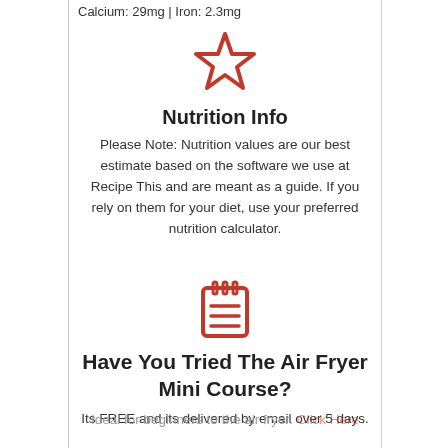Calcium: 29mg | Iron: 2.3mg
[Figure (illustration): Red outlined star icon]
Nutrition Info
Please Note: Nutrition values are our best estimate based on the software we use at Recipe This and are meant as a guide. If you rely on them for your diet, use your preferred nutrition calculator.
[Figure (illustration): Red notepad/lines icon]
Have You Tried The Air Fryer Mini Course?
Its FREE and its delivered by email over 5 days.
Ideal for beginners to the air fryer. Click Here